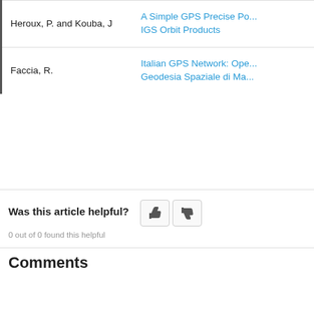| Author | Title |
| --- | --- |
| Heroux, P. and Kouba, J | A Simple GPS Precise Po...
IGS Orbit Products |
| Faccia, R. | Italian GPS Network: Ope...
Geodesia Spaziale di Ma... |
Was this article helpful?
0 out of 0 found this helpful
Comments